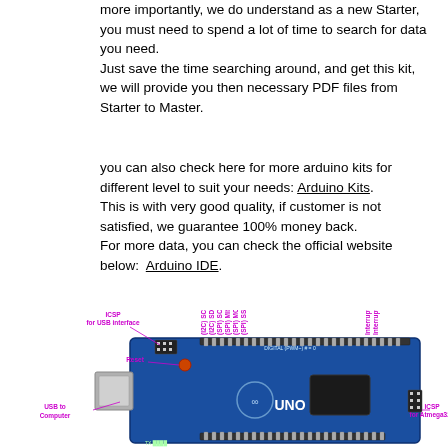more importantly, we do understand as a new Starter, you must need to spend a lot of time to search for data you need.
Just save the time searching around, and get this kit, we will provide you then necessary PDF files from Starter to Master.
you can also check here for more arduino kits for different level to suit your needs: Arduino Kits.
This is with very good quality, if customer is not satisfied, we guarantee 100% money back.
For more data, you can check the official website below:  Arduino IDE.
[Figure (engineering-diagram): Arduino UNO board diagram with labeled components: ICSP for USB interface, Reset, USB to Computer, (I2C) SCL, (I2C) SDA, (SPI) SCK, (SPI) MISO, (SPI) MOSI, (SPI) SS, Interrupt 1, Interrupt 0, ICSP for Atmega328]